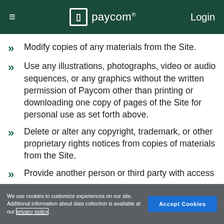paycom Login
Modify copies of any materials from the Site.
Use any illustrations, photographs, video or audio sequences, or any graphics without the written permission of Paycom other than printing or downloading one copy of pages of the Site for personal use as set forth above.
Delete or alter any copyright, trademark, or other proprietary rights notices from copies of materials from the Site.
Provide another person or third party with access
We use cookies to customize experiences on our site. Additional information about data collection is available at our privacy policy.